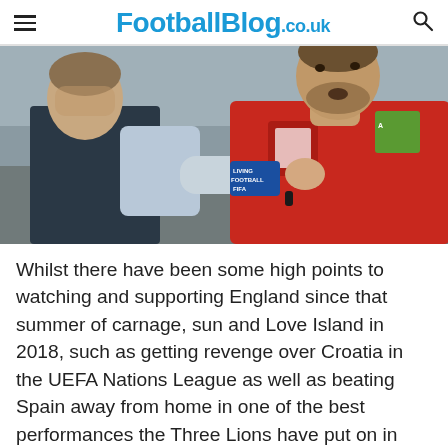FootballBlog.co.uk
[Figure (photo): A man in a grey waistcoat and light blue shirt placing his hand on the face/chin of a player wearing an England red shirt with Three Lions badge and a blue captain's armband.]
Whilst there have been some high points to watching and supporting England since that summer of carnage, sun and Love Island in 2018, such as getting revenge over Croatia in the UEFA Nations League as well as beating Spain away from home in one of the best performances the Three Lions have put on in many a year, these moments of have been few and far between.